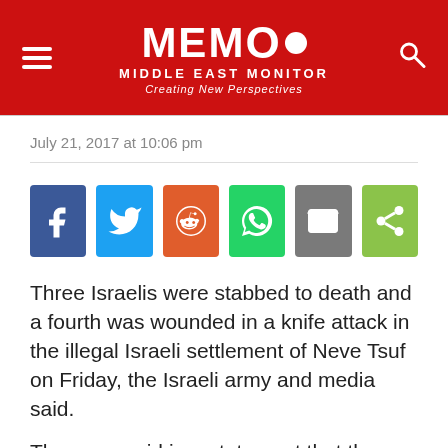MEMO MIDDLE EAST MONITOR — Creating New Perspectives
July 21, 2017 at 10:06 pm
[Figure (infographic): Social share buttons: Facebook, Twitter, Reddit, WhatsApp, Email, Share]
Three Israelis were stabbed to death and a fourth was wounded in a knife attack in the illegal Israeli settlement of Neve Tsuf on Friday, the Israeli army and media said.
The army said in a statement that the four victims were Israeli civilians and that the assailant was also shot. It was not known